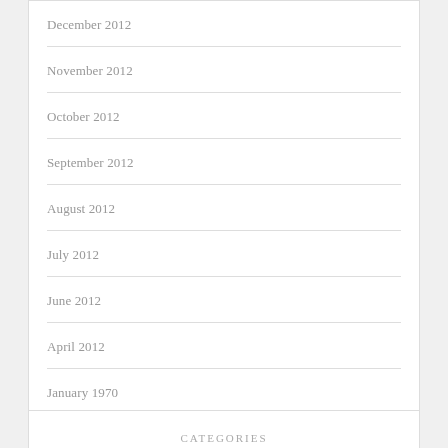December 2012
November 2012
October 2012
September 2012
August 2012
July 2012
June 2012
April 2012
January 1970
CATEGORIES